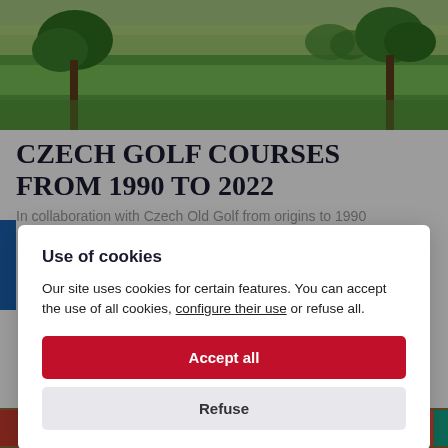[Figure (photo): Aerial view of a green golf course with trees in the background on a bright day]
CZECH GOLF COURSES FROM 1990 TO 2022
In collaboration with Czech Old Golf from origins to 1990
Use of cookies
Our site uses cookies for certain features. You can accept the use of all cookies, configure their use or refuse all.
Accept all
Refuse
[Figure (photo): Row of colorful books on a shelf, partially visible at bottom of page]